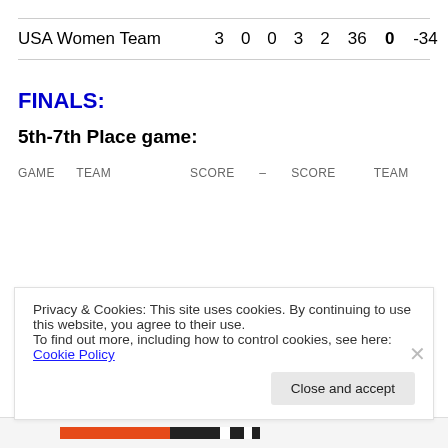|  | 3 | 0 | 0 | 3 | 2 | 36 | 0 | -34 |
| --- | --- | --- | --- | --- | --- | --- | --- | --- |
| USA Women Team | 3 | 0 | 0 | 3 | 2 | 36 | 0 | -34 |
FINALS:
5th-7th Place game:
| GAME | TEAM | SCORE | – | SCORE | TEAM |
| --- | --- | --- | --- | --- | --- |
Privacy & Cookies: This site uses cookies. By continuing to use this website, you agree to their use.
To find out more, including how to control cookies, see here: Cookie Policy
Close and accept